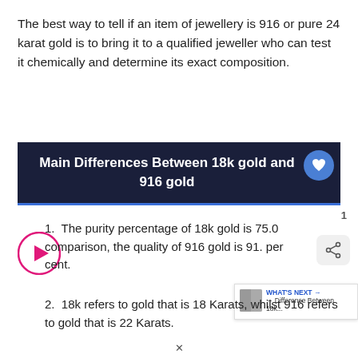The best way to tell if an item of jewellery is 916 or pure 24 karat gold is to bring it to a qualified jeweller who can test it chemically and determine its exact composition.
Main Differences Between 18k gold and 916 gold
The purity percentage of 18k gold is 75.0 comparison, the quality of 916 gold is 91. per cent.
18k refers to gold that is 18 Karats, whilst 916 refers to gold that is 22 Karats.